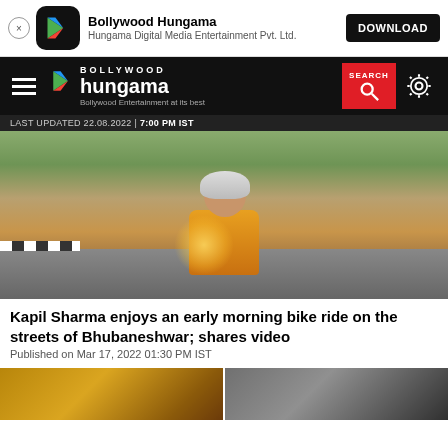[Figure (screenshot): App download banner with Bollywood Hungama app icon, name, publisher, and download button]
[Figure (screenshot): Bollywood Hungama website navigation bar with hamburger menu, logo, search button, and settings icon]
LAST UPDATED 22.08.2022 | 7:00 PM IST
[Figure (photo): Man in yellow shirt wearing helmet riding a bike on a street, leaning back with arm extended]
Kapil Sharma enjoys an early morning bike ride on the streets of Bhubaneshwar; shares video
Published on Mar 17, 2022 01:30 PM IST
[Figure (photo): Two thumbnail images at the bottom of the page]